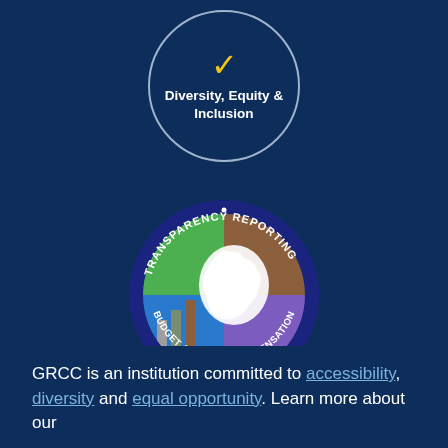[Figure (illustration): Circle with a yellow checkmark icon and bold white text reading 'Diversity, Equity & Inclusion' on a dark navy background with a light gray border]
[Figure (logo): Transparency Reporting seal — circular logo with text 'TRANSPARENCY REPORTING' along the top arc and 'BUDGET & SALARY/COMPENSATION' along the bottom arc, featuring a Michigan state map graphic in green, brown, blue, and purple quadrants with bar chart elements]
GRCC is an institution committed to accessibility, diversity and equal opportunity. Learn more about our